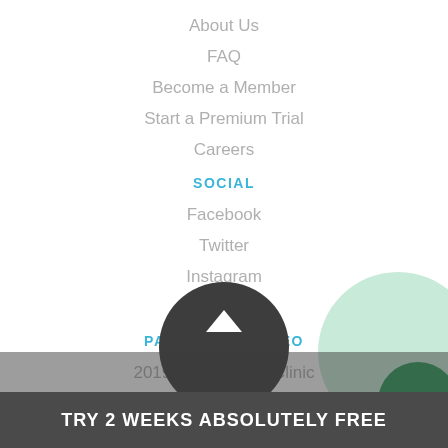About Us
FAQ
Become a Member
Start a Premium Trial
Careers
SOCIAL
Facebook
Twitter
Instagram
YouTube
PAST CLINIC VIDEO
2019 PA Coaches Clinic
2018 Coaches Clinic
TRY 2 WEEKS ABSOLUTELY FREE